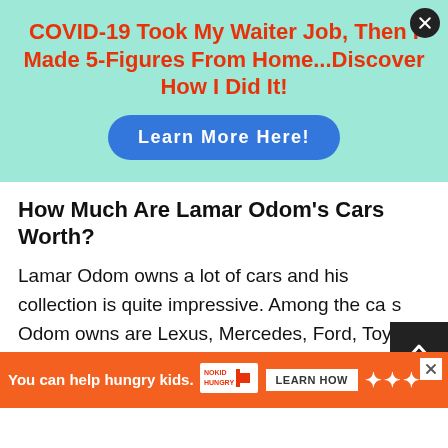[Figure (screenshot): Advertisement banner with mint/teal background. Headline in red bold text: 'COVID-19 Took My Waiter Job, Then I Made 5-Figures From Home...Discover How I Did It!' with a blue rounded 'Learn More Here!' button. A dark circular close button is in the top-right corner.]
How Much Are Lamar Odom's Cars Worth?
Lamar Odom owns a lot of cars and his collection is quite impressive. Among the cars Odom owns are Lexus, Mercedes, Ford, Toyota, etc. His fans often see him behind the wheel of his cars.
[Figure (screenshot): Bottom orange advertisement bar: 'You can help hungry kids.' with No Kid Hungry logo, a 'LEARN HOW' button, and Millennial Media logo on the right. A white X close button in top-right of bar.]